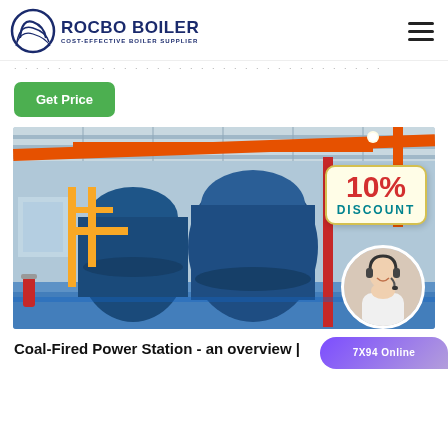[Figure (logo): Rocbo Boiler logo with circular wave icon and text 'ROCBO BOILER / COST-EFFECTIVE BOILER SUPPLIER']
Get Price
[Figure (photo): Industrial boiler room interior with large blue boilers, yellow and orange pipes, and a 10% DISCOUNT badge overlay with a customer service agent in a circle]
Coal-Fired Power Station - an overview |